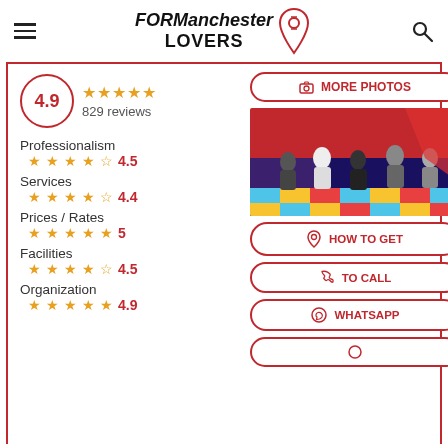FORManchester LOVERS
4.9
829 reviews
Professionalism
4.5
Services
4.4
Prices / Rates
5
Facilities
4.5
Organization
4.9
[Figure (screenshot): Children playing in a colorful inflatable play area with a multicolored floor]
MORE PHOTOS
HOW TO GET
TO CALL
WHATSAPP